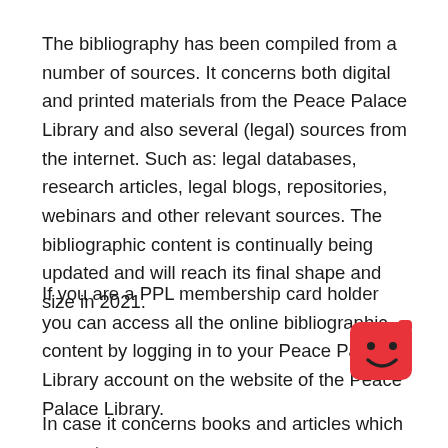The bibliography has been compiled from a number of sources. It concerns both digital and printed materials from the Peace Palace Library and also several (legal) sources from the internet. Such as: legal databases, research articles, legal blogs, repositories, webinars and other relevant sources. The bibliographic content is continually being updated and will reach its final shape and size in 2021.
If you are a PPL membership card holder you can access all the online bibliographic content by logging in to your Peace Palace Library account on the website of the Peace Palace Library.
[Figure (illustration): Red square emoji-like character with a smiley face]
In case it concerns books and articles which are not